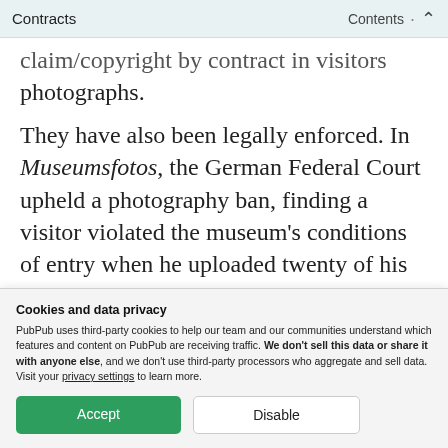Contracts · Contents ↑
claim/copyright by contract in visitors photographs.
They have also been legally enforced. In Museumsfotos, the German Federal Court upheld a photography ban, finding a visitor violated the museum's conditions of entry when he uploaded twenty of his own photographic reproductions of public
Cookies and data privacy
PubPub uses third-party cookies to help our team and our communities understand which features and content on PubPub are receiving traffic. We don't sell this data or share it with anyone else, and we don't use third-party processors who aggregate and sell data. Visit your privacy settings to learn more.